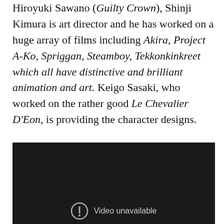Hiroyuki Sawano (Guilty Crown), Shinji Kimura is art director and he has worked on a huge array of films including Akira, Project A-Ko, Spriggan, Steamboy, Tekkonkinkreet which all have distinctive and brilliant animation and art. Keigo Sasaki, who worked on the rather good Le Chevalier D'Eon, is providing the character designs.
[Figure (screenshot): Dark video player showing 'Video unavailable' message with a broken video icon on a near-black background.]